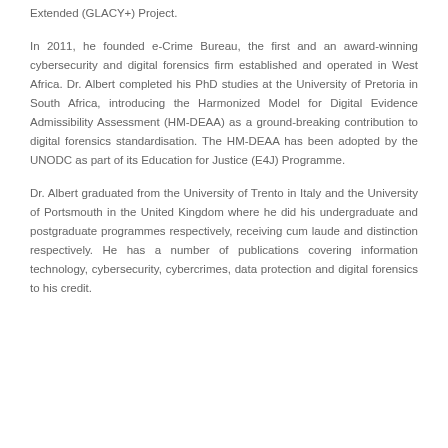Extended (GLACY+) Project.
In 2011, he founded e-Crime Bureau, the first and an award-winning cybersecurity and digital forensics firm established and operated in West Africa. Dr. Albert completed his PhD studies at the University of Pretoria in South Africa, introducing the Harmonized Model for Digital Evidence Admissibility Assessment (HM-DEAA) as a ground-breaking contribution to digital forensics standardisation. The HM-DEAA has been adopted by the UNODC as part of its Education for Justice (E4J) Programme.
Dr. Albert graduated from the University of Trento in Italy and the University of Portsmouth in the United Kingdom where he did his undergraduate and postgraduate programmes respectively, receiving cum laude and distinction respectively. He has a number of publications covering information technology, cybersecurity, cybercrimes, data protection and digital forensics to his credit.